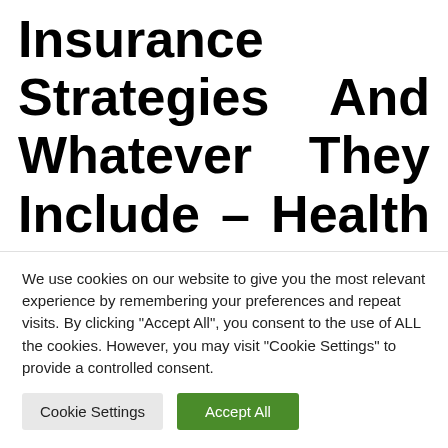Insurance Strategies And Whatever They Include – Health Insurance Online Buy
Several employers provide overall health intends to their workers. They assist insurance firms to develop an idea that actually works for the employees and include other plans. You can get person health insurance through status
We use cookies on our website to give you the most relevant experience by remembering your preferences and repeat visits. By clicking "Accept All", you consent to the use of ALL the cookies. However, you may visit "Cookie Settings" to provide a controlled consent.